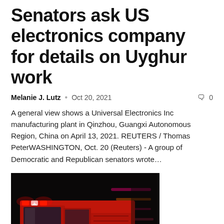Senators ask US electronics company for details on Uyghur work
Melanie J. Lutz  •  Oct 20, 2021  🗨 0
A general view shows a Universal Electronics Inc manufacturing plant in Qinzhou, Guangxi Autonomous Region, China on April 13, 2021. REUTERS / Thomas PeterWASHINGTON, Oct. 20 (Reuters) - A group of Democratic and Republican senators wrote…
[Figure (photo): A red fire truck (paramedic vehicle) with flashing lights at night, motion blur in background]
Fire damages Mundelein